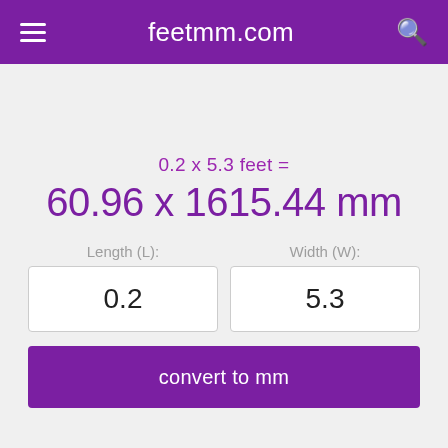feetmm.com
0.2 x 5.3 feet =
60.96 x 1615.44 mm
Length (L): 0.2
Width (W): 5.3
convert to mm